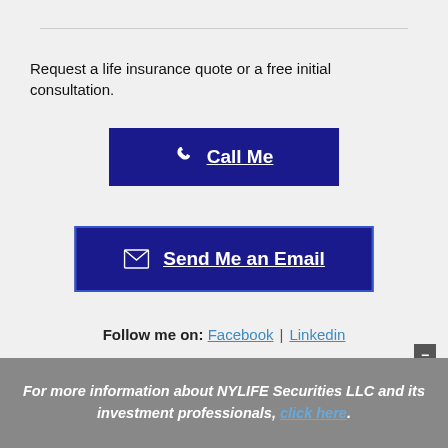Request a life insurance quote or a free initial consultation.
[Figure (other): Dark blue button with phone icon and text 'Call Me']
[Figure (other): Dark blue button with envelope icon and text 'Send Me an Email']
Follow me on: Facebook | Linkedin
Oliver D. Gray Jr. Financial Services Professional is an agent licensed to sell insurance through New York Life Insurance Company and may be licensed with various other independent unaffiliated insurance companies in the states of FL, MD, NC, NJ,
For more information about NYLIFE Securities LLC and its investment professionals, click here.